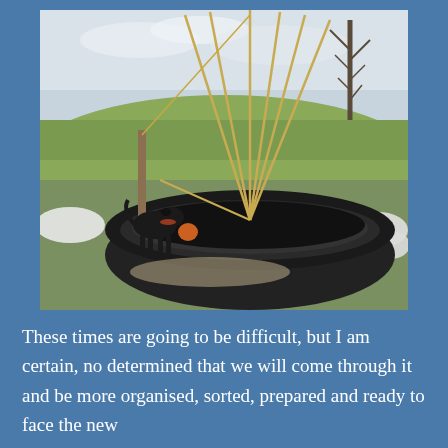[Figure (photo): A black dog standing next to a large tractor tyre placed in a garden/allotment. Inside the tyre is black plastic sheeting with what appears to be an orange/red object. Several bamboo canes are arranged in a teepee/wigwam structure rising from the tyre. In the background there is grass, bare winter trees, and a hillside. To the right some white fleece/fabric is visible on the ground.]
These times are going to be difficult, but I am certain, no determined that we will come through it and be more organised, sorted, prepared and ready to face the new